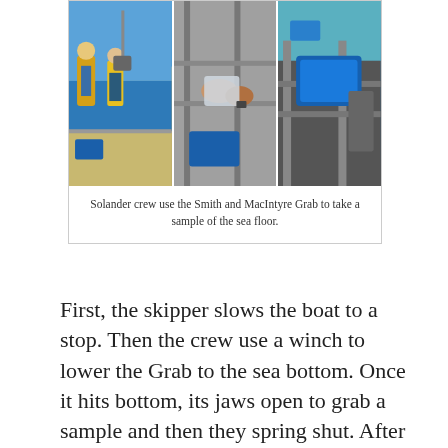[Figure (photo): Three photos side-by-side showing Solander crew using the Smith and MacIntyre Grab on a research vessel to take a sample of the sea floor. Left photo: crew members on deck with the grab device being lowered over water. Centre photo: close-up of hands handling a sample bag. Right photo: blue tray/container on deck equipment.]
Solander crew use the Smith and MacIntyre Grab to take a sample of the sea floor.
First, the skipper slows the boat to a stop. Then the crew use a winch to lower the Grab to the sea bottom. Once it hits bottom, its jaws open to grab a sample and then they spring shut. After the Grab is winched back on deck, scientists scoop out a sample for analysis. Watch out while the sample tray is emptied – SPLAT!